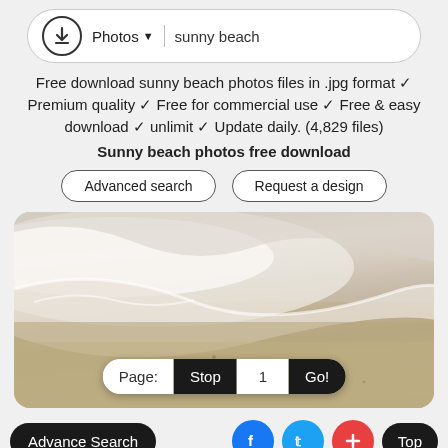[Figure (screenshot): Search bar with download icon, Photos dropdown, and 'sunny beach' search text]
Free download sunny beach photos files in .jpg format ✓ Premium quality ✓ Free for commercial use ✓ Free & easy download ✓ unlimit ✓ Update daily. (4,829 files)
Sunny beach photos free download
[Figure (screenshot): Two outline buttons: 'Advanced search' and 'Request a design']
[Figure (photo): Beach photo showing ocean waves washing onto sandy shore with page navigation overlay showing Page: Stop 1 Go!]
[Figure (screenshot): Bottom bar with Advance Search button, Facebook, Twitter, plus (+), and Top buttons]